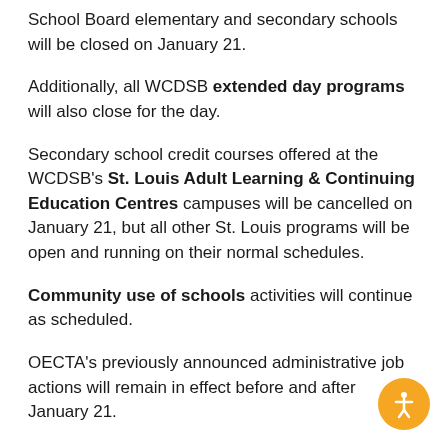School Board elementary and secondary schools will be closed on January 21.
Additionally, all WCDSB extended day programs will also close for the day.
Secondary school credit courses offered at the WCDSB's St. Louis Adult Learning & Continuing Education Centres campuses will be cancelled on January 21, but all other St. Louis programs will be open and running on their normal schedules.
Community use of schools activities will continue as scheduled.
OECTA's previously announced administrative job actions will remain in effect before and after January 21.